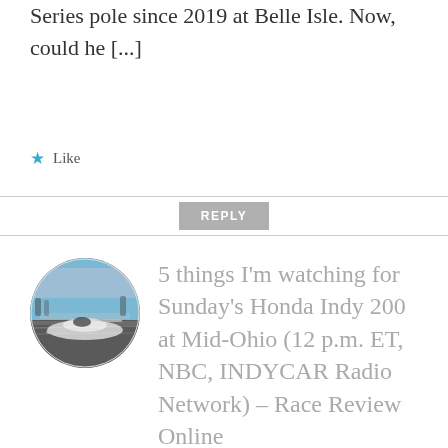Series pole since 2019 at Belle Isle. Now, could he [...]
Like
REPLY
[Figure (photo): Circular avatar photo of an IndyCar racing car in a pit lane with blurred motion background, blue sky above grandstands]
5 things I'm watching for Sunday's Honda Indy 200 at Mid-Ohio (12 p.m. ET, NBC, INDYCAR Radio Network) – Race Review Online